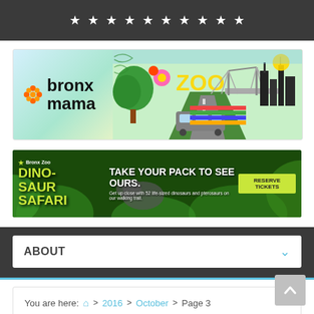★ ★ ★ ★ ★ ★ ★ ★ ★ ★
[Figure (illustration): Bronx Mama Zoo banner advertisement with colorful illustrated background featuring a tree, flowers, subway train, bridge, and city skyline. Text reads 'bronx mama' and 'ZOO'.]
[Figure (illustration): Bronx Zoo Dinosaur Safari advertisement. Green jungle background with a dinosaur. Text: 'Bronx Zoo DINOSAUR SAFARI', 'TAKE YOUR PACK TO SEE OURS.', 'Get up close with 52 life-sized dinosaurs and pterosaurs on our walking trail.' Button: 'RESERVE TICKETS']
ABOUT
You are here: 🏠 > 2016 > October > Page 3